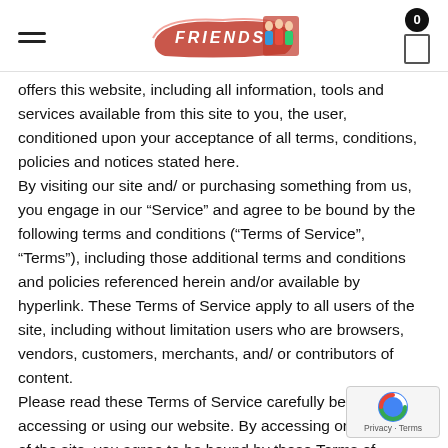Friends [logo with hamburger menu and cart icon]
offers this website, including all information, tools and services available from this site to you, the user, conditioned upon your acceptance of all terms, conditions, policies and notices stated here.
By visiting our site and/ or purchasing something from us, you engage in our “Service” and agree to be bound by the following terms and conditions (“Terms of Service”, “Terms”), including those additional terms and conditions and policies referenced herein and/or available by hyperlink. These Terms of Service apply to all users of the site, including without limitation users who are browsers, vendors, customers, merchants, and/ or contributors of content.
Please read these Terms of Service carefully before accessing or using our website. By accessing or using part of the site, you agree to be bound by these Terms of